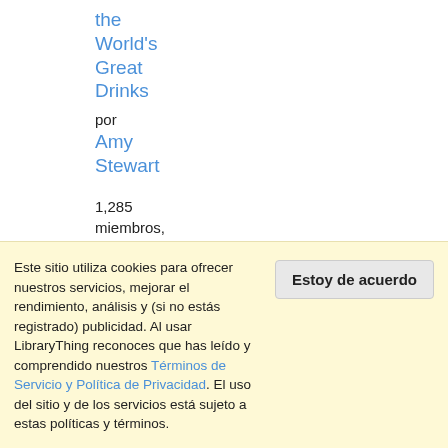the World's Great Drinks
por
Amy Stewart
1,285 miembros, 50 reseñas
[Figure (other): 4 green stars rating display]
(4.08 estrellas)
Este sitio utiliza cookies para ofrecer nuestros servicios, mejorar el rendimiento, análisis y (si no estás registrado) publicidad. Al usar LibraryThing reconoces que has leído y comprendido nuestros Términos de Servicio y Política de Privacidad. El uso del sitio y de los servicios está sujeto a estas políticas y términos.